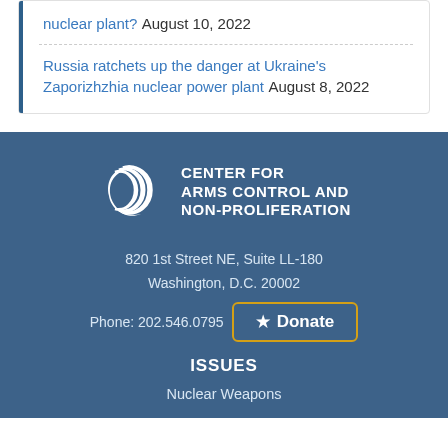nuclear plant? August 10, 2022
Russia ratchets up the danger at Ukraine's Zaporizhzhia nuclear power plant August 8, 2022
[Figure (logo): Center for Arms Control and Non-Proliferation logo with crescent swoosh icon and text]
820 1st Street NE, Suite LL-180
Washington, D.C. 20002
Phone: 202.546.0795
Donate
ISSUES
Nuclear Weapons